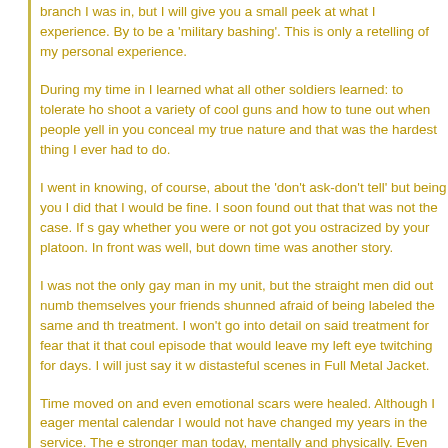branch I was in, but I will give you a small peek at what I experience. By to be a 'military bashing'. This is only a retelling of my personal experience.
During my time in I learned what all other soldiers learned: to tolerate ho shoot a variety of cool guns and how to tune out when people yell in you conceal my true nature and that was the hardest thing I ever had to do.
I went in knowing, of course, about the 'don't ask-don't tell' but being you I did that I would be fine. I soon found out that that was not the case. If s gay whether you were or not got you ostracized by your platoon. In front was well, but down time was another story.
I was not the only gay man in my unit, but the straight men did out numb themselves your friends shunned afraid of being labeled the same and th treatment. I won't go into detail on said treatment for fear that it that coul episode that would leave my left eye twitching for days. I will just say it w distasteful scenes in Full Metal Jacket.
Time moved on and even emotional scars were healed. Although I eager mental calendar I would not have changed my years in the service. The e stronger man today, mentally and physically. Even though the repeal of th believe it will take time to affect the troops on the ground level of things. I'm on the outside watching this time.
Recently, I wrote a story about gays in the military called Care Package